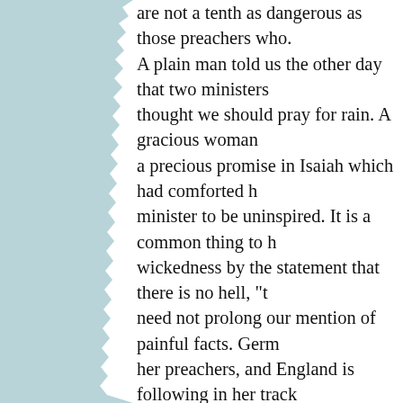are not a tenth as dangerous as those preachers who. A plain man told us the other day that two ministers thought we should pray for rain. A gracious woman a precious promise in Isaiah which had comforted her minister to be uninspired. It is a common thing to hear wickedness by the statement that there is no hell, "t need not prolong our mention of painful facts. Germany her preachers, and England is following in her tracks worship is declining, and reverence for holy things believe this to be largely attributable to the scepticism pulpit and spread among the people. Possibly the m intended it to go so far; but none the less they have it. Their own observation ought to teach them better thinkers filled their own chapels? Have they, after a discarding the old methods? Possibly, in a few cases these gentry over the destructive results of their ministry pretty new theology has scattered their congregations a thousand, or twelve hundred, or fifteen hundred, p ceiling with ardent hearers, how small are the numbers instances, but we forbear. The places which the gospel emptied, and will keep empty.
    This fact will have little influence with "the cu